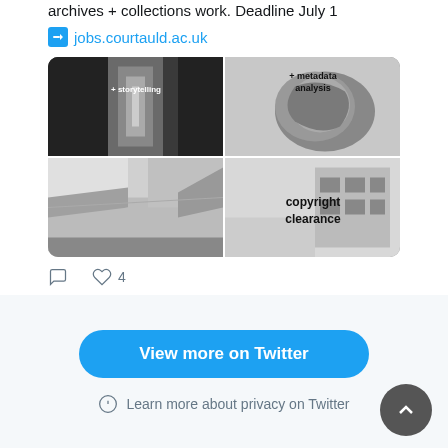archives + collections work. Deadline July 1
jobs.courtauld.ac.uk
[Figure (photo): 2x2 grid of black and white photos: top-left shows a corridor with text '+ storytelling', top-right shows a sculpture with text '+ metadata analysis', bottom-left shows an interior architectural space, bottom-right shows a building exterior with text 'copyright clearance']
View more on Twitter
Learn more about privacy on Twitter